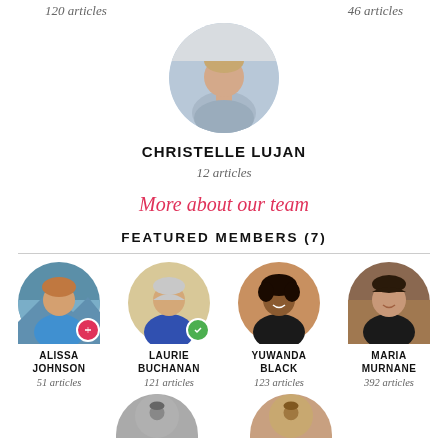120 articles    46 articles
[Figure (photo): Circular profile photo of Christelle Lujan]
CHRISTELLE LUJAN
12 articles
More about our team
FEATURED MEMBERS (7)
[Figure (photo): Circular profile photo of Alissa Johnson with red badge]
ALISSA JOHNSON
51 articles
[Figure (photo): Circular profile photo of Laurie Buchanan with green badge]
LAURIE BUCHANAN
121 articles
[Figure (photo): Circular profile photo of Yuwanda Black]
YUWANDA BLACK
123 articles
[Figure (photo): Circular profile photo of Maria Murnane]
MARIA MURNANE
392 articles
[Figure (photo): Partial circular profile photos of two more members at bottom]